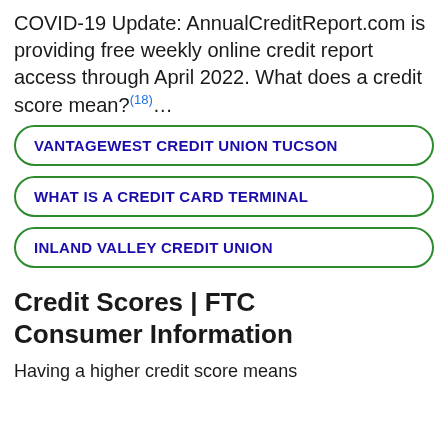COVID-19 Update: AnnualCreditReport.com is providing free weekly online credit report access through April 2022. What does a credit score mean?(18)...
VANTAGEWEST CREDIT UNION TUCSON
WHAT IS A CREDIT CARD TERMINAL
INLAND VALLEY CREDIT UNION
Credit Scores | FTC Consumer Information
Having a higher credit score means